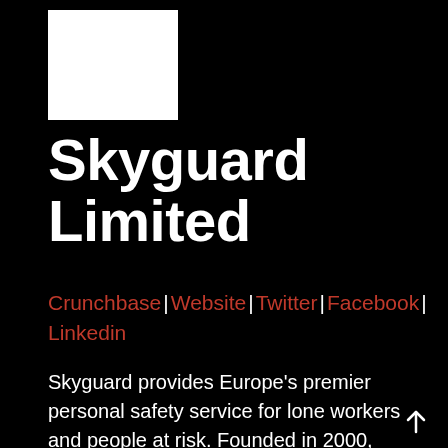[Figure (logo): White square logo placeholder on black background]
Skyguard Limited
Crunchbase | Website | Twitter | Facebook | Linkedin
Skyguard provides Europe's premier personal safety service for lone workers and people at risk. Founded in 2000, Skyguard offer a range of exclusively-designed, state-of-the-art personal safety devices linked to